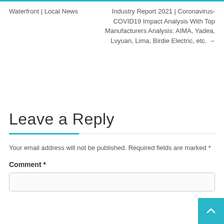Waterfront | Local News
Industry Report 2021 | Coronavirus-COVID19 Impact Analysis With Top Manufacturers Analysis: AIMA, Yadea, Lvyuan, Lima, Birdie Electric, etc. →
Leave a Reply
Your email address will not be published. Required fields are marked *
Comment *